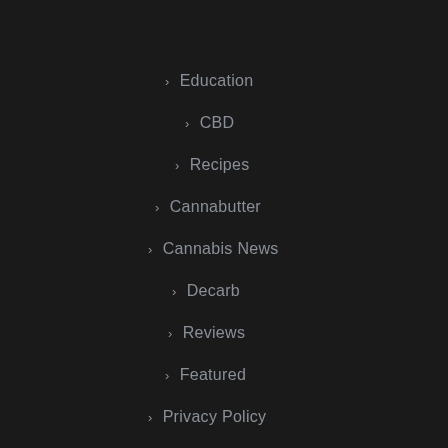> Education
> CBD
> Recipes
> Cannabutter
> Cannabis News
> Decarb
> Reviews
> Featured
> Privacy Policy
> Contact Us